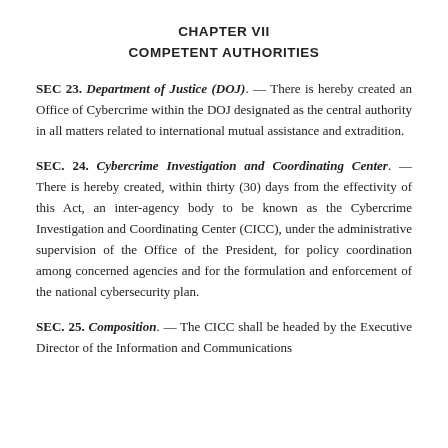CHAPTER VII
COMPETENT AUTHORITIES
SEC 23. Department of Justice (DOJ). — There is hereby created an Office of Cybercrime within the DOJ designated as the central authority in all matters related to international mutual assistance and extradition.
SEC. 24. Cybercrime Investigation and Coordinating Center. — There is hereby created, within thirty (30) days from the effectivity of this Act, an inter-agency body to be known as the Cybercrime Investigation and Coordinating Center (CICC), under the administrative supervision of the Office of the President, for policy coordination among concerned agencies and for the formulation and enforcement of the national cybersecurity plan.
SEC. 25. Composition. — The CICC shall be headed by the Executive Director of the Information and Communications...